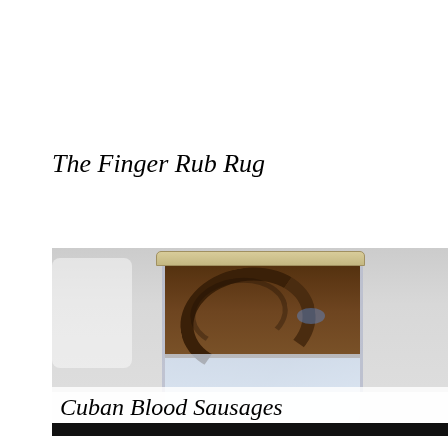The Finger Rub Rug
[Figure (photo): A glass jar containing a dark brown substance (resembling sausage or food) in the upper portion and a clear liquid in the lower portion, photographed against a light grey/white background with a black bar at the bottom edge.]
Cuban Blood Sausages